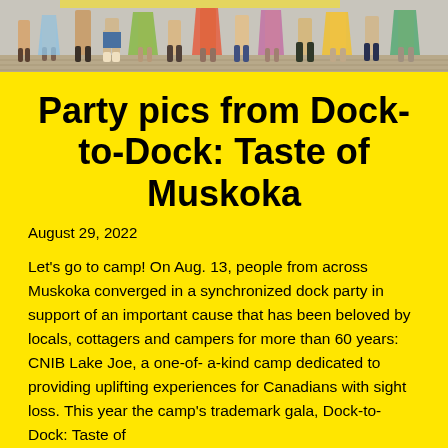[Figure (photo): Cropped photo showing legs and feet of a crowd of people standing on a wooden dock, dressed in summer clothing and sandals.]
Party pics from Dock-to-Dock: Taste of Muskoka
August 29, 2022
Let's go to camp! On Aug. 13, people from across Muskoka converged in a synchronized dock party in support of an important cause that has been beloved by locals, cottagers and campers for more than 60 years: CNIB Lake Joe, a one-of- a-kind camp dedicated to providing uplifting experiences for Canadians with sight loss. This year the camp's trademark gala, Dock-to-Dock: Taste of